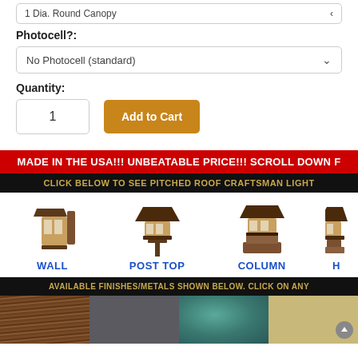1 Dia. Round Canopy
Photocell?:
No Photocell (standard)
Quantity:
1
Add to Cart
MADE IN THE USA!!! UNBEATABLE PRICE!!! SCROLL DOWN F
CLICK BELOW TO SEE PITCHED ROOF CRAFTSMAN LIGHT
WALL
POST TOP
COLUMN
H
AVAILABLE FINISHES/METALS SHOWN BELOW. CLICK ON ANY
[Figure (illustration): Four finish/metal swatch images: dark brown wood grain, dark gray metal, teal/verdigris, and light tan/brass]
[Figure (illustration): Three craftsman light fixture icons: wall mount, post top, and column mount]